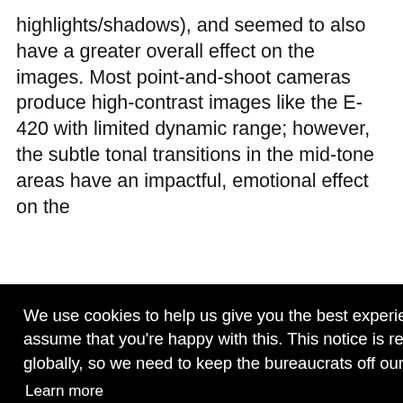highlights/shadows), and seemed to also have a greater overall effect on the images. Most point-and-shoot cameras produce high-contrast images like the E-420 with limited dynamic range; however, the subtle tonal transitions in the mid-tone areas have an impactful, emotional effect on the
[Figure (screenshot): Cookie consent overlay dialog with black background. Text reads: 'We use cookies to help us give you the best experience on IR. If you continue to use this site, we will assume that you're happy with this. This notice is required by recent EU rules, and IR is read globally, so we need to keep the bureaucrats off our case!' Followed by a 'Learn more' link and a blue 'Got it!' button.]
quick tweak h the E- ome te ear this 're k and white images (in-camera or